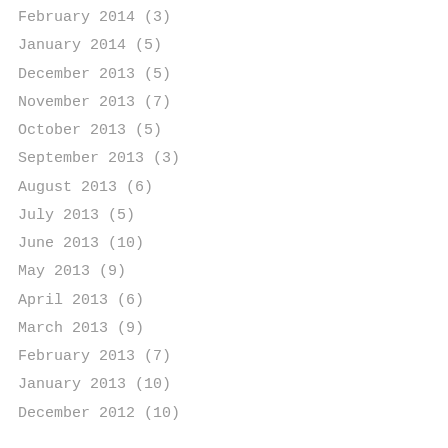February 2014 (3)
January 2014 (5)
December 2013 (5)
November 2013 (7)
October 2013 (5)
September 2013 (3)
August 2013 (6)
July 2013 (5)
June 2013 (10)
May 2013 (9)
April 2013 (6)
March 2013 (9)
February 2013 (7)
January 2013 (10)
December 2012 (10)